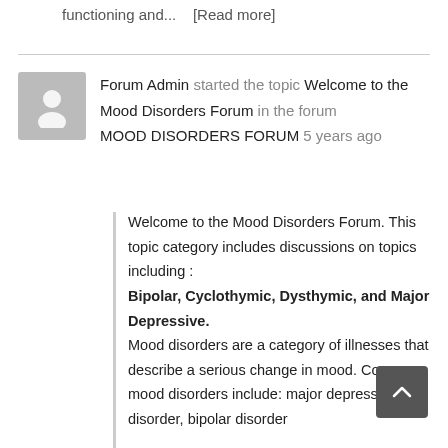functioning and...    [Read more]
[Figure (illustration): Gray avatar/profile silhouette icon on gray background]
Forum Admin started the topic Welcome to the Mood Disorders Forum in the forum MOOD DISORDERS FORUM 5 years ago
Welcome to the Mood Disorders Forum. This topic category includes discussions on topics including : Bipolar, Cyclothymic, Dysthymic, and Major Depressive. Mood disorders are a category of illnesses that describe a serious change in mood. Common mood disorders include: major depressive disorder, bipolar disorder